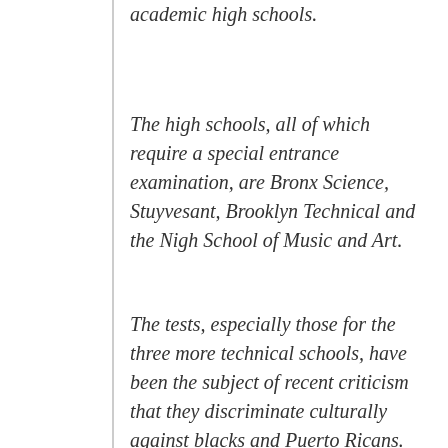academic high schools.
The high schools, all of which require a special entrance examination, are Bronx Science, Stuyvesant, Brooklyn Technical and the Nigh School of Music and Art.
The tests, especially those for the three more technical schools, have been the subject of recent criticism that they discriminate culturally against blacks and Puerto Ricans.